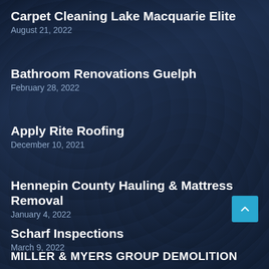Carpet Cleaning Lake Macquarie Elite
August 21, 2022
Bathroom Renovations Guelph
February 28, 2022
Apply Rite Roofing
December 10, 2021
Hennepin County Hauling & Mattress Removal
January 4, 2022
Scharf Inspections
March 9, 2022
MILLER & MYERS GROUP DEMOLITION